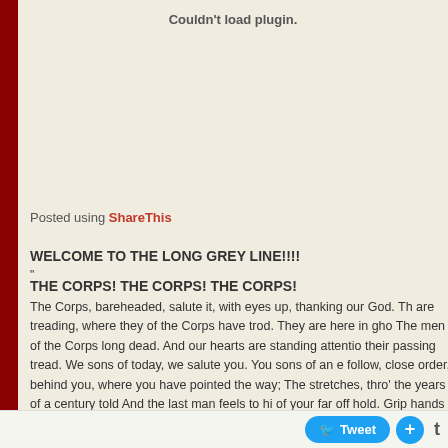Couldn't load plugin.
Posted using ShareThis
WELCOME TO THE LONG GREY LINE!!!!
"
THE CORPS! THE CORPS! THE CORPS!
The Corps, bareheaded, salute it, with eyes up, thanking our God. Th... are treading, where they of the Corps have trod. They are here in gho... The men of the Corps long dead. And our hearts are standing attentio... their passing tread. We sons of today, we salute you. You sons of an e... follow, close order, behind you, where you have pointed the way; The... stretches, thro' the years of a century told And the last man feels to hi... of your far off hold. Grip hands with us now though we see not, grip h...
Tweet +  t